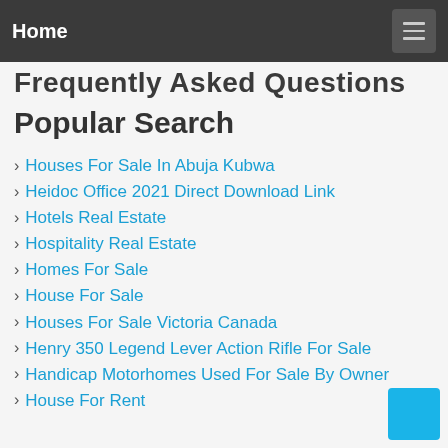Home
Frequently Asked Questions
Popular Search
Houses For Sale In Abuja Kubwa
Heidoc Office 2021 Direct Download Link
Hotels Real Estate
Hospitality Real Estate
Homes For Sale
House For Sale
Houses For Sale Victoria Canada
Henry 350 Legend Lever Action Rifle For Sale
Handicap Motorhomes Used For Sale By Owner
House For Rent